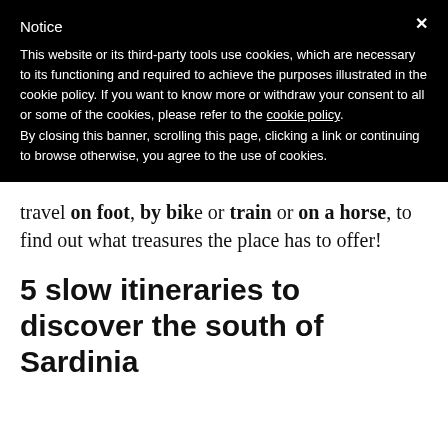Notice
This website or its third-party tools use cookies, which are necessary to its functioning and required to achieve the purposes illustrated in the cookie policy. If you want to know more or withdraw your consent to all or some of the cookies, please refer to the cookie policy.
By closing this banner, scrolling this page, clicking a link or continuing to browse otherwise, you agree to the use of cookies.
travel on foot, by bike or train or on a horse, to find out what treasures the place has to offer!
5 slow itineraries to discover the south of Sardinia